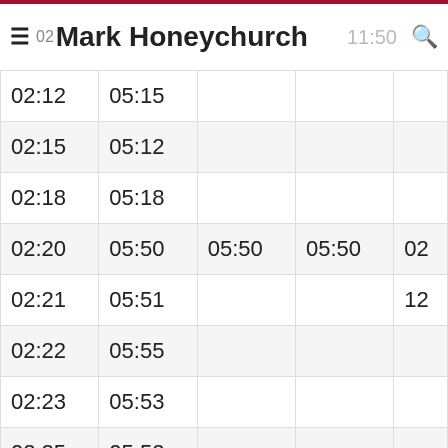Mark Honeychurch  11:50
| 02:12 | 05:15 |  |  |  |
| 02:15 | 05:12 |  |  |  |
| 02:18 | 05:18 |  |  |  |
| 02:20 | 05:50 | 05:50 | 05:50 | 02 |
| 02:21 | 05:51 |  |  | 12 |
| 02:22 | 05:55 |  |  |  |
| 02:23 | 05:53 |  |  |  |
| 02:25 | 05:52 |  |  |  |
| 02:28 | 05:58 |  |  |  |
| 02:30 | 05:30 |  |  | 03 |
| 02:31 | 05:31 |  |  |  |